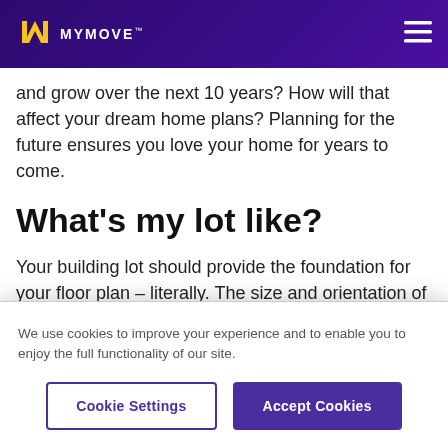MYMOVE™
and grow over the next 10 years? How will that affect your dream home plans? Planning for the future ensures you love your home for years to come.
What's my lot like?
Your building lot should provide the foundation for your floor plan – literally. The size and orientation of your lot should have a bearing
We use cookies to improve your experience and to enable you to enjoy the full functionality of our site.
Cookie Settings
Accept Cookies